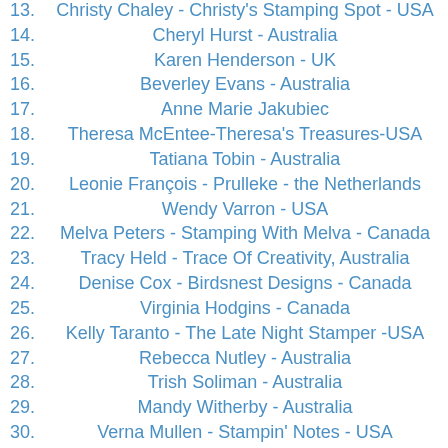13. Christy Chaley - Christy's Stamping Spot - USA
14. Cheryl Hurst - Australia
15. Karen Henderson - UK
16. Beverley Evans - Australia
17. Anne Marie Jakubiec
18. Theresa McEntee-Theresa's Treasures-USA
19. Tatiana Tobin - Australia
20. Leonie François - Prulleke - the Netherlands
21. Wendy Varron - USA
22. Melva Peters - Stamping With Melva - Canada
23. Tracy Held - Trace Of Creativity, Australia
24. Denise Cox - Birdsnest Designs - Canada
25. Virginia Hodgins - Canada
26. Kelly Taranto - The Late Night Stamper -USA
27. Rebecca Nutley - Australia
28. Trish Soliman - Australia
29. Mandy Witherby - Australia
30. Verna Mullen - Stampin' Notes - USA
31. Janice Piechowiak - USAc